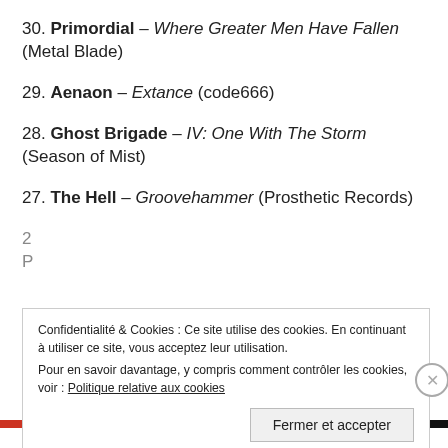30. Primordial – Where Greater Men Have Fallen (Metal Blade)
29. Aenaon – Extance (code666)
28. Ghost Brigade – IV: One With The Storm (Season of Mist)
27. The Hell – Groovehammer (Prosthetic Records)
Confidentialité & Cookies : Ce site utilise des cookies. En continuant à utiliser ce site, vous acceptez leur utilisation. Pour en savoir davantage, y compris comment contrôler les cookies, voir : Politique relative aux cookies
Fermer et accepter